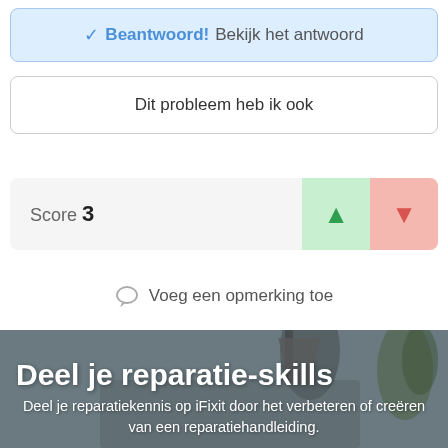✓ Beantwoord! Bekijk het antwoord
Dit probleem heb ik ook
Score 3
Voeg een opmerking toe
[Figure (photo): Two people looking at a laptop in a workshop/kitchen setting with a hanging lamp and plant, dark overlay with white text overlay reading: Deel je reparatie-skills. Deel je reparatiekennis op iFixit door het verbeteren of creëren van een reparatiehandleiding.]
Deel je reparatie-skills
Deel je reparatiekennis op iFixit door het verbeteren of creëren van een reparatiehandleiding.